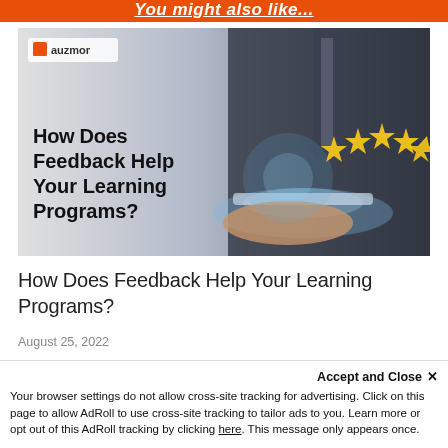You might also like...
[Figure (photo): Promotional image for Auzmor blog post showing a person in a suit holding a tablet displaying 5 gold stars, with bold text overlay reading 'How Does Feedback Help Your Learning Programs?' and the Auzmor logo in the top-left corner.]
How Does Feedback Help Your Learning Programs?
August 25, 2022
Read More »
Accept and Close ✕
Your browser settings do not allow cross-site tracking for advertising. Click on this page to allow AdRoll to use cross-site tracking to tailor ads to you. Learn more or opt out of this AdRoll tracking by clicking here. This message only appears once.